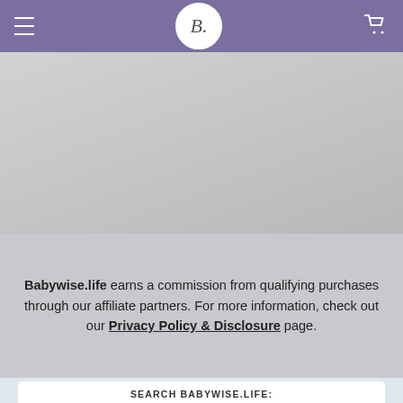B. [Babywise.life logo] — Navigation header with hamburger menu and cart icon
[Figure (photo): Large gray placeholder image area below the header navigation bar]
Babywise.life earns a commission from qualifying purchases through our affiliate partners. For more information, check out our Privacy Policy & Disclosure page.
SEARCH BABYWISE.LIFE:
Search [input field] SEARCH [button]